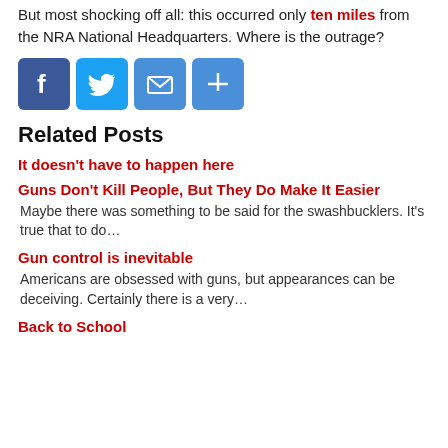But most shocking off all: this occurred only ten miles from the NRA National Headquarters. Where is the outrage?
[Figure (other): Social sharing buttons: Facebook, Twitter, Email, Share (plus icon)]
Related Posts
It doesn't have to happen here
Guns Don't Kill People, But They Do Make It Easier
Maybe there was something to be said for the swashbucklers. It's true that to do…
Gun control is inevitable
Americans are obsessed with guns, but appearances can be deceiving. Certainly there is a very…
Back to School